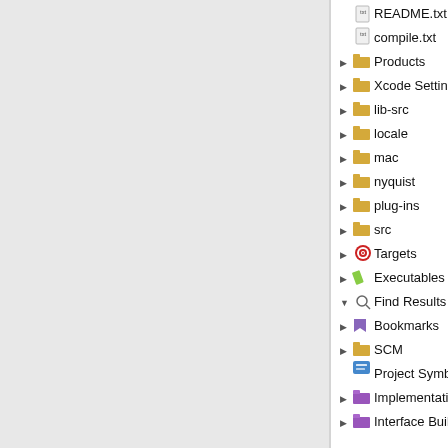[Figure (screenshot): macOS Xcode IDE screenshot showing a project navigator tree panel on the left with file/folder entries (README.txt, compile.txt, Products, Xcode Settings, lib-src, locale, mac, nyquist, plug-ins, src folders, Targets, Executables, Find Results, Bookmarks, SCM, Project Symbols, Implementation Files, Interface Builder Files), and a second panel on the right showing a file list (About, About, abs.c, abs.h, AButt, AButt, ACol, AColo) with navigation arrows at the bottom.]